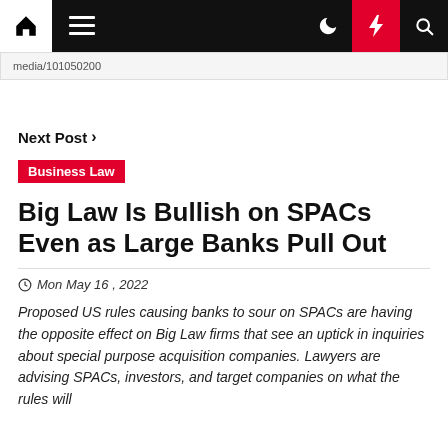Navigation bar with home, menu, dark mode, lightning, search icons
media/101050200
Next Post >
Business Law
Big Law Is Bullish on SPACs Even as Large Banks Pull Out
Mon May 16 , 2022
Proposed US rules causing banks to sour on SPACs are having the opposite effect on Big Law firms that see an uptick in inquiries about special purpose acquisition companies. Lawyers are advising SPACs, investors, and target companies on what the rules will